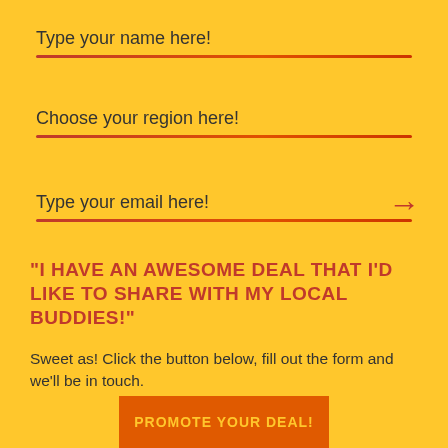Type your name here!
Choose your region here!
Type your email here!
"I HAVE AN AWESOME DEAL THAT I'D LIKE TO SHARE WITH MY LOCAL BUDDIES!"
Sweet as! Click the button below, fill out the form and we'll be in touch.
PROMOTE YOUR DEAL!